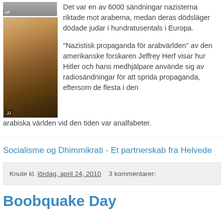[Figure (photo): Top cropped black and white photo (partial face) with 'AF' label, and below it a color photo of a bearded man wearing a white head covering]
Det var en av 6000 sändningar nazisterna riktade mot araberna, medan deras dödsläger dödade judar i hundratusentals i Europa.
"Nazistisk propaganda för arabvärlden" av den amerikanske forskaren Jeffrey Herf visar hur Hitler och hans medhjälpare använde sig av radiosändningar för att sprida propaganda, eftersom de flesta i den arabiska världen vid den tiden var analfabeter.
Socialisme og Dhimmikrati - Et partnerskab fra Helvede
Knute kl. lördag, april 24, 2010   3 kommentarer:
Boobquake Day